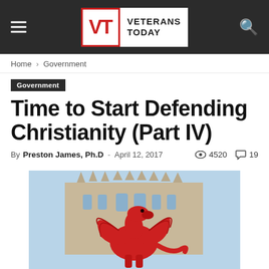Veterans Today
Home › Government
Government
Time to Start Defending Christianity (Part IV)
By Preston James, Ph.D - April 12, 2017  4520  19
[Figure (photo): Red dragon sculpture in front of a Gothic cathedral against a light blue sky]